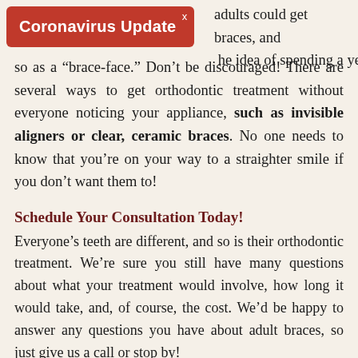[Figure (other): Red banner overlay with white bold text 'Coronavirus Update' and a close X button in the top-right corner of the banner]
adults could get braces, and the idea of spending a year or so as a “brace-face.” Don’t be discouraged! There are several ways to get orthodontic treatment without everyone noticing your appliance, such as invisible aligners or clear, ceramic braces. No one needs to know that you’re on your way to a straighter smile if you don’t want them to!
Schedule Your Consultation Today!
Everyone’s teeth are different, and so is their orthodontic treatment. We’re sure you still have many questions about what your treatment would involve, how long it would take, and, of course, the cost. We’d be happy to answer any questions you have about adult braces, so just give us a call or stop by!
Everyone deserves to have the smile of their